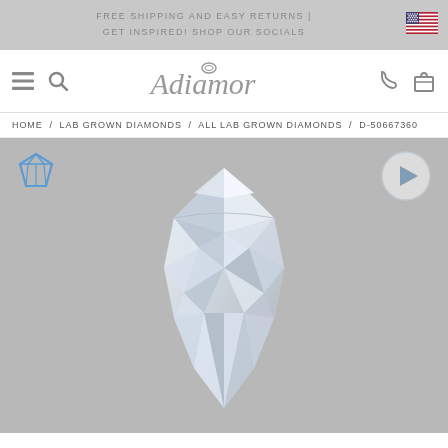FREE SHIPPING AND EASY RETURNS | GET INSPIRED! SHOP OUR SOCIALS
[Figure (logo): Adiamor script logo with ring icon]
HOME / LAB GROWN DIAMONDS / ALL LAB GROWN DIAMONDS / D-50667360
[Figure (photo): Close-up photo of a pear-shaped lab grown diamond against gray background, with diamond icon overlay top-left and video play button top-right]